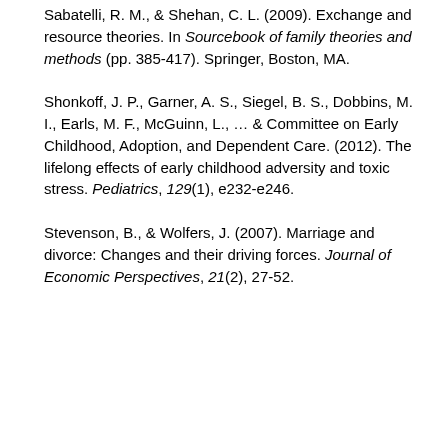Sabatelli, R. M., & Shehan, C. L. (2009). Exchange and resource theories. In Sourcebook of family theories and methods (pp. 385-417). Springer, Boston, MA.
Shonkoff, J. P., Garner, A. S., Siegel, B. S., Dobbins, M. I., Earls, M. F., McGuinn, L., … & Committee on Early Childhood, Adoption, and Dependent Care. (2012). The lifelong effects of early childhood adversity and toxic stress. Pediatrics, 129(1), e232-e246.
Stevenson, B., & Wolfers, J. (2007). Marriage and divorce: Changes and their driving forces. Journal of Economic Perspectives, 21(2), 27-52.